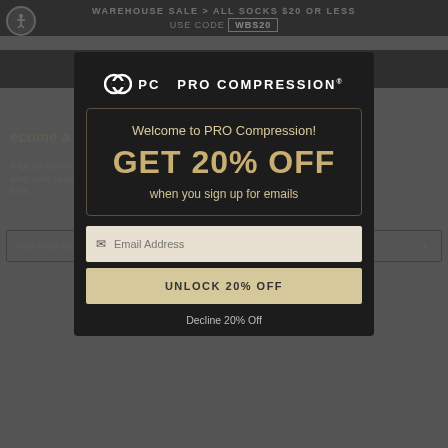WAREHOUSE SALE > ALL SOCKS $20 OR LESS USE CODE WBS20
[Figure (screenshot): PRO Compression website navigation bar with logo]
[Figure (screenshot): PRO Compression email signup modal popup with logo, promotional offer GET 20% OFF when you sign up for emails, email input field, UNLOCK 20% OFF button, and Decline 20% Off link]
Welcome to PRO Compression!
GET 20% OFF
when you sign up for emails
Email Address
UNLOCK 20% OFF
Decline 20% Off